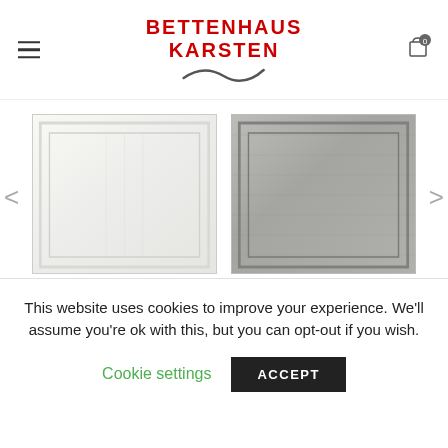[Figure (logo): Bettenhaus Karsten logo with red bold text and decorative wave underneath]
[Figure (photo): White bath mat with ribbed border texture]
[Figure (photo): Gray bath mat with ribbed border texture]
Badematte
21,95€
Badematte
21,95€
This website uses cookies to improve your experience. We'll assume you're ok with this, but you can opt-out if you wish.
Cookie settings
ACCEPT